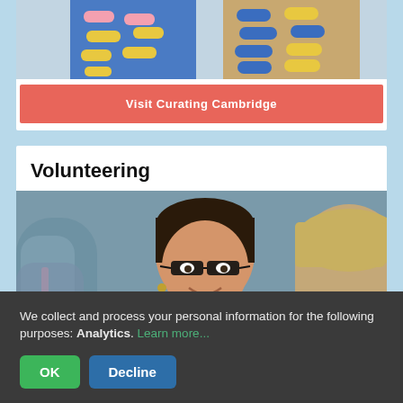[Figure (photo): Two decorative socks with colorful pill/capsule patterns on blue and tan backgrounds]
Visit Curating Cambridge
Volunteering
[Figure (photo): A woman with dark hair and glasses wearing a teal shirt, smiling and talking with someone across a table in what appears to be a community or museum setting]
We collect and process your personal information for the following purposes: Analytics. Learn more...
OK
Decline